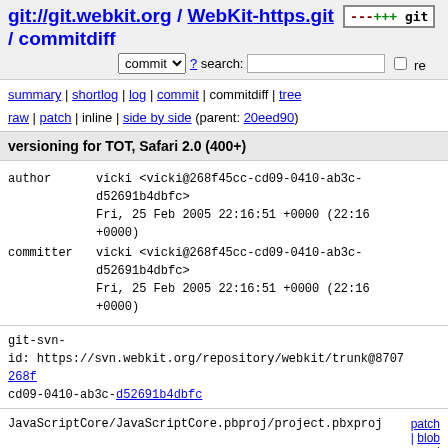git://git.webkit.org / WebKit-https.git / commitdiff
commit ? search: re
summary | shortlog | log | commit | commitdiff | tree
raw | patch | inline | side by side (parent: 20eed90)
versioning for TOT, Safari 2.0 (400+)
author   vicki <vicki@268f45cc-cd09-0410-ab3c-d52691b4dbfc>
         Fri, 25 Feb 2005 22:16:51 +0000 (22:16 +0000)
committer vicki <vicki@268f45cc-cd09-0410-ab3c-d52691b4dbfc>
         Fri, 25 Feb 2005 22:16:51 +0000 (22:16 +0000)
git-svn-id: https://svn.webkit.org/repository/webkit/trunk@8707 268f45cc-cd09-0410-ab3c-d52691b4dbfc
JavaScriptCore/JavaScriptCore.pbproj/project.pbxproj
WebCore/WebCore.pbproj/project.pbxproj